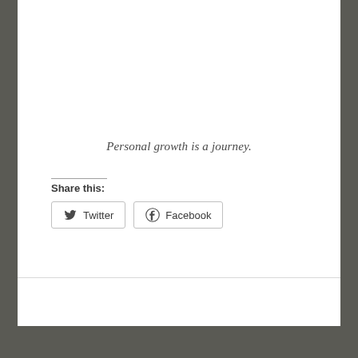Personal growth is a journey.
Share this:
Twitter
Facebook